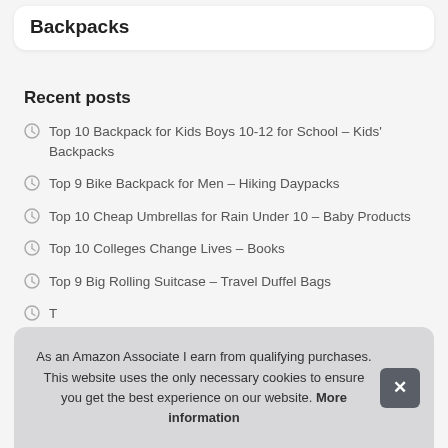Backpacks
Recent posts
Top 10 Backpack for Kids Boys 10-12 for School – Kids' Backpacks
Top 9 Bike Backpack for Men – Hiking Daypacks
Top 10 Cheap Umbrellas for Rain Under 10 – Baby Products
Top 10 Colleges Change Lives – Books
Top 9 Big Rolling Suitcase – Travel Duffel Bags
As an Amazon Associate I earn from qualifying purchases. This website uses the only necessary cookies to ensure you get the best experience on our website. More information